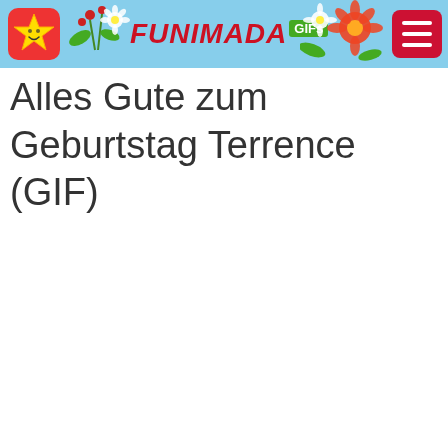FUNIMADA GIFs
Alles Gute zum Geburtstag Terrence (GIF)